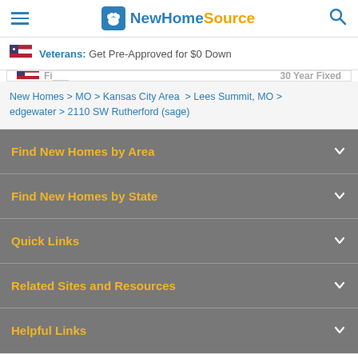NewHomeSource — hamburger menu, logo, search icon
Veterans: Get Pre-Approved for $0 Down
[Figure (screenshot): Partially visible mortgage rate banner with flag icon and '30 Year Fixed' text]
New Homes > MO > Kansas City Area > Lees Summit, MO > edgewater > 2110 SW Rutherford (sage)
Find New Homes by Area
Find New Homes by State
Quick Links
Related Sites and Resources
Helpful Links
Contact Builder
Request a Tour